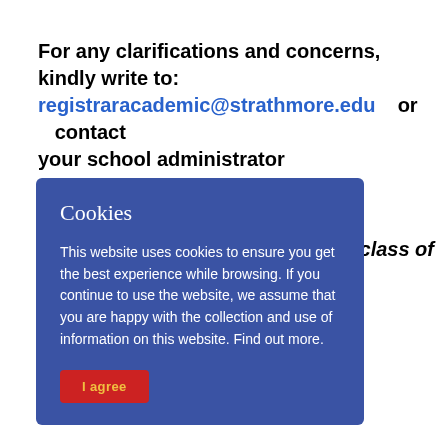For any clarifications and concerns, kindly write to: registraracademic@strathmore.edu or contact your school administrator
s the class of
Cookies

This website uses cookies to ensure you get the best experience while browsing. If you continue to use the website, we assume that you are happy with the collection and use of information on this website. Find out more.

I agree